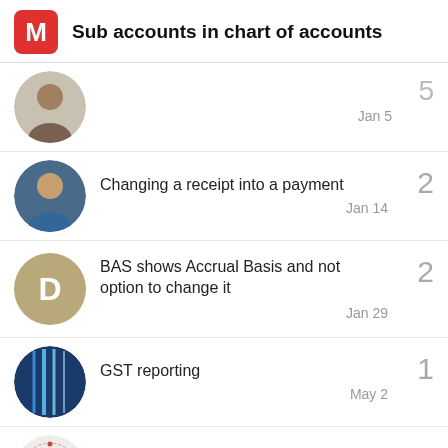Sub accounts in chart of accounts
Changing a receipt into a payment — 2 replies — Jan 14
BAS shows Accrual Basis and not option to change it — 2 replies — Jan 29
GST reporting — 1 reply — May 2
Custom theme edit — 6 replies — Jun 23
Want to read more? Browse all categories or view latest topics.